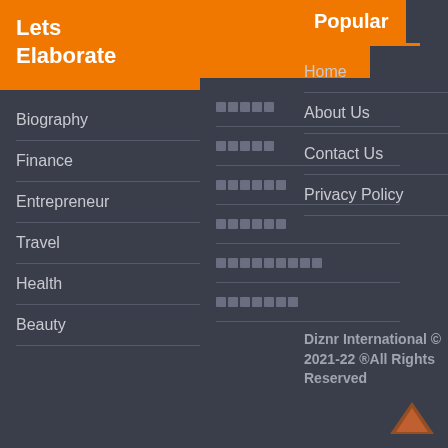Lets Elaborate
Biography
Finance
Entrepreneur
Travel
Health
Beauty
[Figure (other): Orange rectangle placeholder image]
Popular
Home
About Us
Contact Us
Privacy Policy
Diznr International © 2021-22 ®All Rights Reserved
[Figure (illustration): Back to top arrow icon in brown/orange]